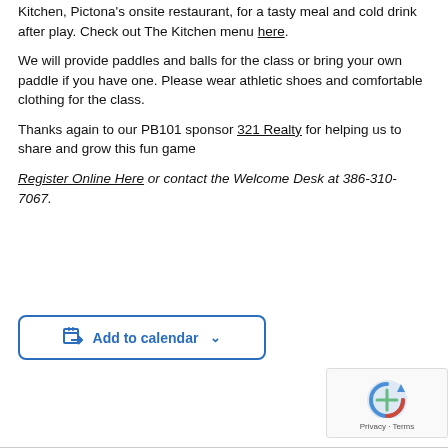PB 101 participants are also welcome to join us in The Kitchen, Pictona's onsite restaurant, for a tasty meal and cold drink after play. Check out The Kitchen menu here.
We will provide paddles and balls for the class or bring your own paddle if you have one. Please wear athletic shoes and comfortable clothing for the class.
Thanks again to our PB101 sponsor 321 Realty for helping us to share and grow this fun game
Register Online Here or contact the Welcome Desk at 386-310-7067.
[Figure (other): Add to calendar button with calendar icon and dropdown arrow]
[Figure (other): reCAPTCHA widget with Privacy and Terms links]